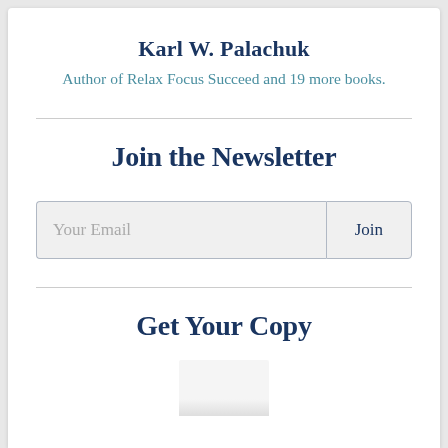Karl W. Palachuk
Author of Relax Focus Succeed and 19 more books.
Join the Newsletter
Your Email | Join
Get Your Copy